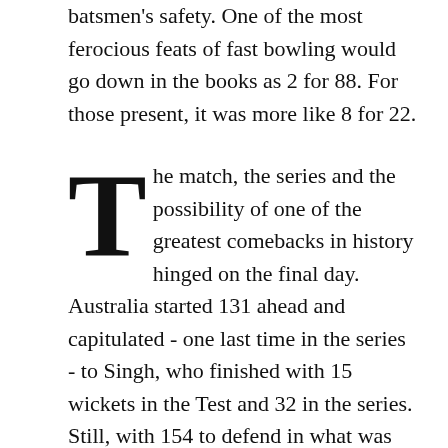batsmen's safety. One of the most ferocious feats of fast bowling would go down in the books as 2 for 88. For those present, it was more like 8 for 22.
The match, the series and the possibility of one of the greatest comebacks in history hinged on the final day. Australia started 131 ahead and capitulated - one last time in the series - to Singh, who finished with 15 wickets in the Test and 32 in the series. Still, with 154 to defend in what was most certainly his final Test in India, Waugh had history on his side. No team had chased over 125 to win a Test on this ground. No team other than West Indies in Barbados, led by Brian Lara's